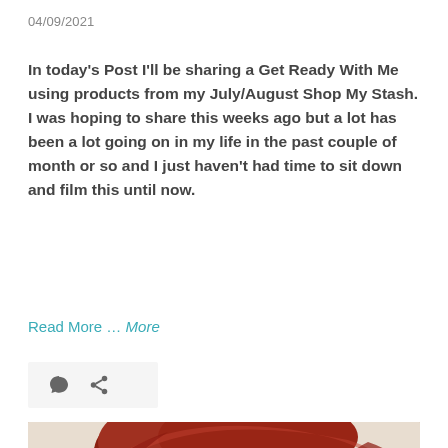04/09/2021
In today's Post I'll be sharing a Get Ready With Me using products from my July/August Shop My Stash. I was hoping to share this weeks ago but a lot has been a lot going on in my life in the past couple of month or so and I just haven't had time to sit down and film this until now.
Read More … More
[Figure (other): Icon bar with comment bubble and share/link icons on light grey background]
[Figure (photo): Partial photo showing the top of a person's head with red/auburn hair, cropped at bottom of page]